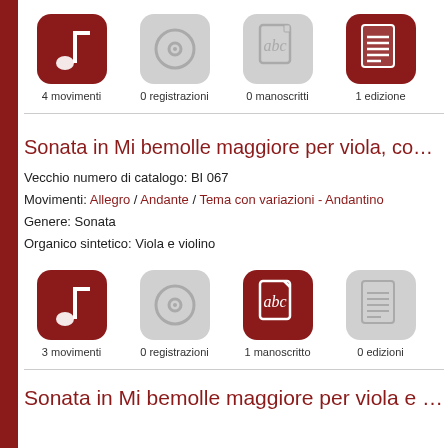[Figure (infographic): Row of 4 icons: music note (active/red), CD (inactive/grey), abc manuscript (inactive/grey), document (active/red) with labels: 4 movimenti, 0 registrazioni, 0 manoscritti, 1 edizione]
Sonata in Mi bemolle maggiore per viola, con viol
Vecchio numero di catalogo: BI 067
Movimenti: Allegro / Andante / Tema con variazioni - Andantino
Genere: Sonata
Organico sintetico: Viola e violino
[Figure (infographic): Row of 4 icons: music note (active/red), CD (inactive/grey), abc manuscript (active/red), document (inactive/grey) with labels: 3 movimenti, 0 registrazioni, 1 manoscritto, 0 edizioni]
Sonata in Mi bemolle maggiore per viola e basso